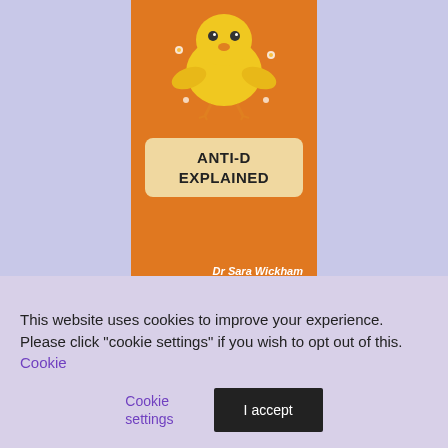[Figure (illustration): Book cover of 'Anti-D Explained' by Dr Sara Wickham. Orange background with a yellow rubber duck illustration at the top. A beige rounded rectangle contains the bold title 'ANTI-D EXPLAINED'. Author name 'Dr Sara Wickham' and 'Foreword by Dr Michel Odent' appear below.]
Rhesus negative pregnant women are offered an injection of Anti-D (or RhoGam) at several points during pregnancy and birth. This book explains the issues, answers key questions and shares information about what we do and do not know...
This website uses cookies to improve your experience. Please click "cookie settings" if you wish to opt out of this. Cookie settings | I accept